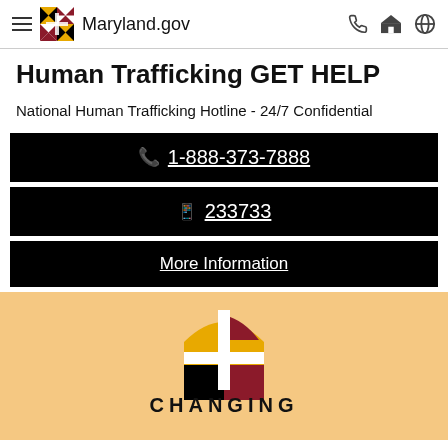Maryland.gov
Human Trafficking GET HELP
National Human Trafficking Hotline - 24/7 Confidential
1-888-373-7888
233733
More Information
[Figure (logo): Maryland.gov logo with state flag icon and text CHANGING at bottom]